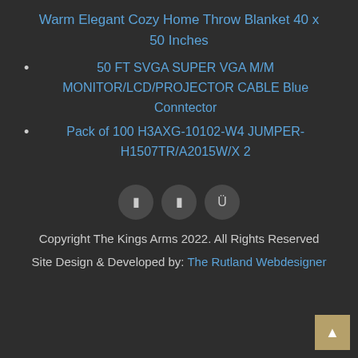Warm Elegant Cozy Home Throw Blanket 40 x 50 Inches
50 FT SVGA SUPER VGA M/M MONITOR/LCD/PROJECTOR CABLE Blue Conntector
Pack of 100 H3AXG-10102-W4 JUMPER-H1507TR/A2015W/X 2
[Figure (other): Three circular icon buttons with symbols]
Copyright The Kings Arms 2022. All Rights Reserved
Site Design & Developed by: The Rutland Webdesigner